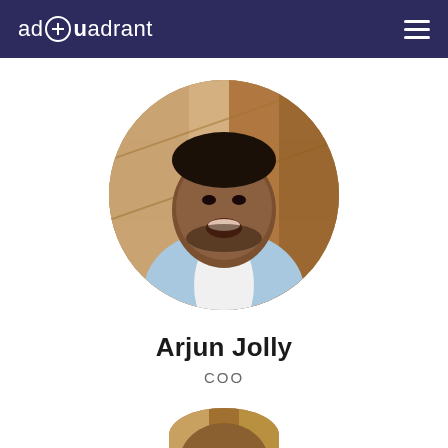adQuadrant
[Figure (photo): Circular cropped headshot photo of Arjun Jolly, a man smiling broadly, wearing a light blue blazer over a white shirt, with a wooden panel background]
Arjun Jolly
COO
[Figure (photo): Partial circular cropped headshot photo of another person, partially visible at the bottom of the page, showing wooden background tones]